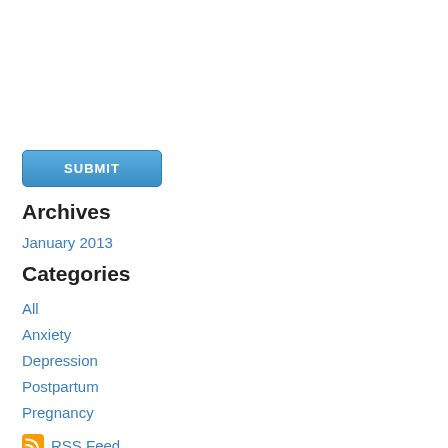[Figure (other): Blue SUBMIT button]
Archives
January 2013
Categories
All
Anxiety
Depression
Postpartum
Pregnancy
RSS Feed
Version:  Mobile  |  Web
Created with Weebly  Get the App